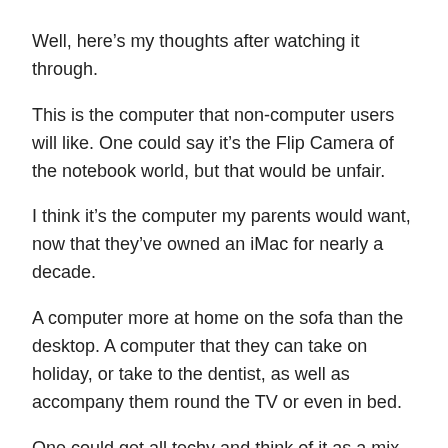Well, here’s my thoughts after watching it through.
This is the computer that non-computer users will like. One could say it’s the Flip Camera of the notebook world, but that would be unfair.
I think it’s the computer my parents would want, now that they’ve owned an iMac for nearly a decade.
A computer more at home on the sofa than the desktop. A computer that they can take on holiday, or take to the dentist, as well as accompany them round the TV or even in bed.
One could get all techy and think of it as a mix of portal to the cloud, media browser and communication tool, but like the iPhone blended a music player, phone, satnav, torch,